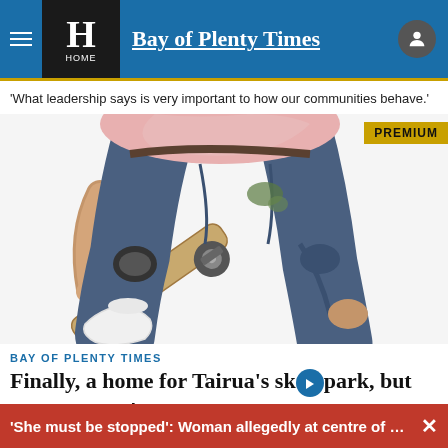Bay of Plenty Times
'What leadership says is very important to how our communities behave.'
[Figure (photo): Close-up photo of a skateboarder performing a trick, showing jeans, knee pads, and a skateboard against a white background. PREMIUM badge overlay in top right.]
BAY OF PLENTY TIMES
Finally, a home for Tairua's sk[logo]park, but not everyone's
'She must be stopped': Woman allegedly at centre of deca